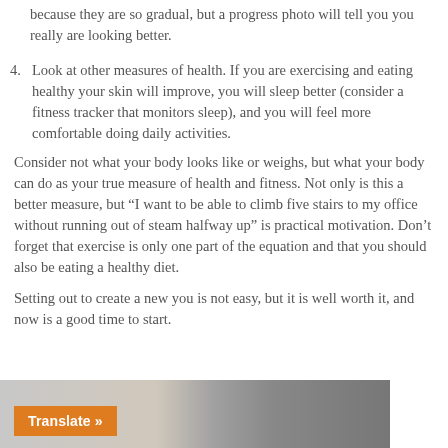because they are so gradual, but a progress photo will tell you you really are looking better.
4. Look at other measures of health. If you are exercising and eating healthy your skin will improve, you will sleep better (consider a fitness tracker that monitors sleep), and you will feel more comfortable doing daily activities.
Consider not what your body looks like or weighs, but what your body can do as your true measure of health and fitness. Not only is this a better measure, but “I want to be able to climb five stairs to my office without running out of steam halfway up” is practical motivation. Don’t forget that exercise is only one part of the equation and that you should also be eating a healthy diet.
Setting out to create a new you is not easy, but it is well worth it, and now is a good time to start.
[Figure (photo): Photo of people exercising on treadmills in a gym, partially visible at the bottom of the page. An orange 'Translate »' button overlay is visible in the lower-left corner of the image.]